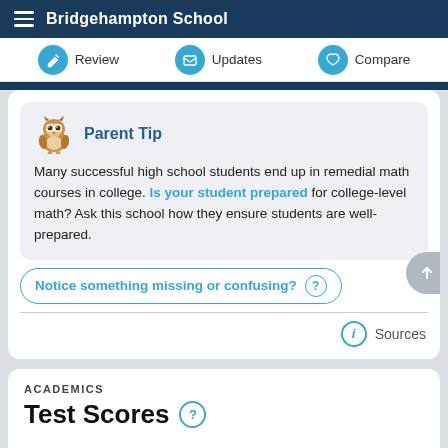Bridgehampton School
Review  Updates  Compare
Parent Tip
Many successful high school students end up in remedial math courses in college. Is your student prepared for college-level math? Ask this school how they ensure students are well-prepared.
Notice something missing or confusing?
Sources
ACADEMICS
Test Scores